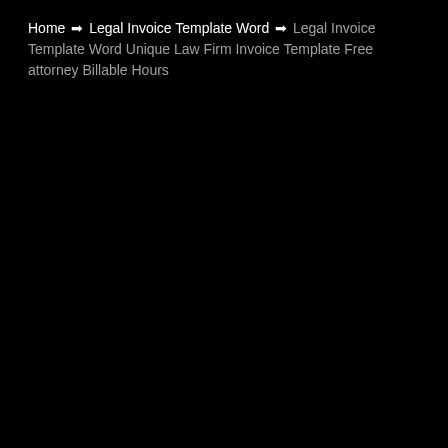Home ➡ Legal Invoice Template Word ➡ Legal Invoice Template Word Unique Law Firm Invoice Template Free attorney Billable Hours